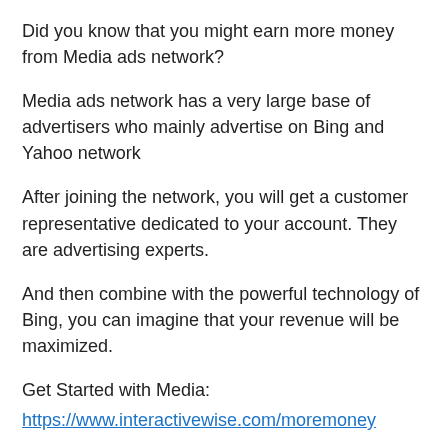Did you know that you might earn more money from Media ads network?
Media ads network has a very large base of advertisers who mainly advertise on Bing and Yahoo network
After joining the network, you will get a customer representative dedicated to your account. They are advertising experts.
And then combine with the powerful technology of Bing, you can imagine that your revenue will be maximized.
Get Started with Media:
https://www.interactivewise.com/moremoney